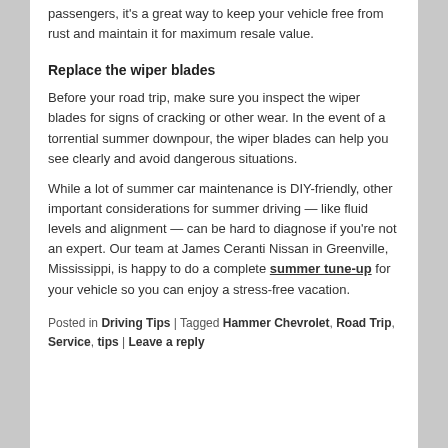passengers, it's a great way to keep your vehicle free from rust and maintain it for maximum resale value.
Replace the wiper blades
Before your road trip, make sure you inspect the wiper blades for signs of cracking or other wear. In the event of a torrential summer downpour, the wiper blades can help you see clearly and avoid dangerous situations.
While a lot of summer car maintenance is DIY-friendly, other important considerations for summer driving — like fluid levels and alignment — can be hard to diagnose if you're not an expert. Our team at James Ceranti Nissan in Greenville, Mississippi, is happy to do a complete summer tune-up for your vehicle so you can enjoy a stress-free vacation.
Posted in Driving Tips | Tagged Hammer Chevrolet, Road Trip, Service, tips | Leave a reply